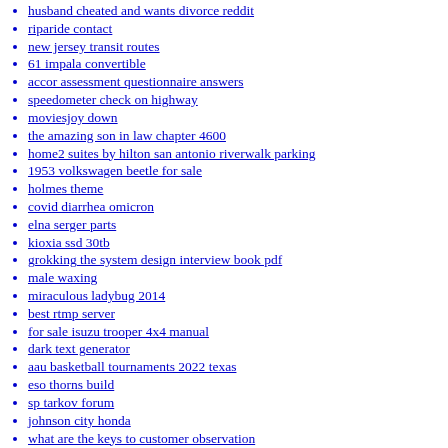husband cheated and wants divorce reddit
riparide contact
new jersey transit routes
61 impala convertible
accor assessment questionnaire answers
speedometer check on highway
moviesjoy down
the amazing son in law chapter 4600
home2 suites by hilton san antonio riverwalk parking
1953 volkswagen beetle for sale
holmes theme
covid diarrhea omicron
elna serger parts
kioxia ssd 30tb
grokking the system design interview book pdf
male waxing
miraculous ladybug 2014
best rtmp server
for sale isuzu trooper 4x4 manual
dark text generator
aau basketball tournaments 2022 texas
eso thorns build
sp tarkov forum
johnson city honda
what are the keys to customer observation